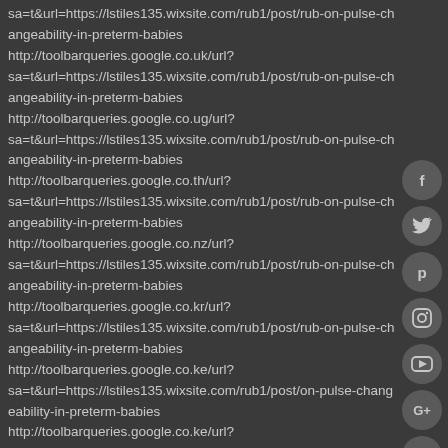sa=t&url=https://lstiles135.wixsite.com/rub1/post/rub-on-pulse-changeability-in-preterm-babies http://toolbarqueries.google.co.uk/url?sa=t&url=https://lstiles135.wixsite.com/rub1/post/rub-on-pulse-changeability-in-preterm-babies http://toolbarqueries.google.co.ug/url?sa=t&url=https://lstiles135.wixsite.com/rub1/post/rub-on-pulse-changeability-in-preterm-babies http://toolbarqueries.google.co.th/url?sa=t&url=https://lstiles135.wixsite.com/rub1/post/rub-on-pulse-changeability-in-preterm-babies http://toolbarqueries.google.co.nz/url?sa=t&url=https://lstiles135.wixsite.com/rub1/post/rub-on-pulse-changeability-in-preterm-babies http://toolbarqueries.google.co.kr/url?sa=t&url=https://lstiles135.wixsite.com/rub1/post/rub-on-pulse-changeability-in-preterm-babies http://toolbarqueries.google.co.ke/url?sa=t&url=https://lstiles135.wixsite.com/rub1/post/on-pulse-changeability-in-preterm-babies http://toolbarqueries.google.co.ke/url?
[Figure (other): Social media share buttons: Facebook (f), Twitter (bird), Pinterest (P), Instagram (camera), YouTube (video camera), Google+ (G+), Email (envelope)]